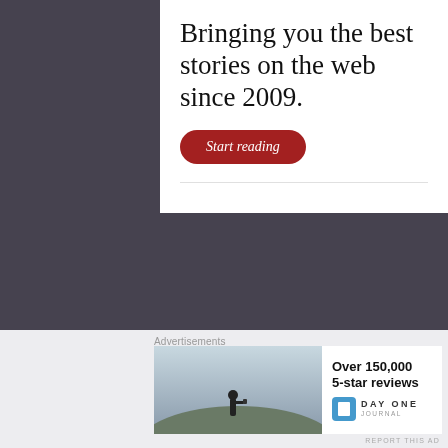[Figure (other): Advertisement card with text 'Bringing you the best stories on the web since 2009.' and a red 'Start reading' button on white background]
REPORT THIS AD
I'm A Southern Writer
[Figure (illustration): Small badge image reading 'I'm a Southern Writer' with cursive text on blue-green background with dark green grass at bottom]
Advertisements
[Figure (photo): Person standing on hilltop taking a photo against a hazy sky]
[Figure (logo): Day One Journal advertisement with text 'Over 150,000 5-star reviews' and Day One logo]
REPORT THIS AD